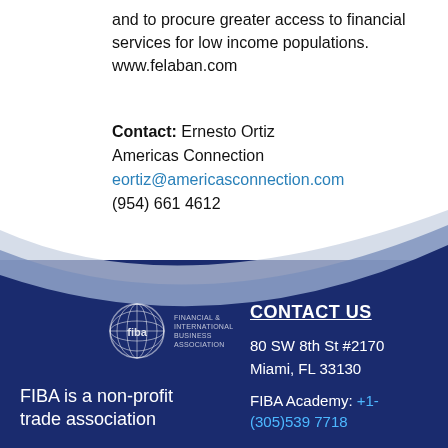and to procure greater access to financial services for low income populations. www.felaban.com
Contact: Ernesto Ortiz
Americas Connection
eortiz@americasconnection.com
(954) 661 4612
[Figure (illustration): Decorative wave curves in blue/grey transitioning from white background to dark navy blue footer]
[Figure (logo): FIBA logo - globe icon with 'fiba' text and 'FINANCIAL & INTERNATIONAL BUSINESS ASSOCIATION' text]
FIBA is a non-profit trade association
CONTACT US
80 SW 8th St #2170
Miami, FL 33130
FIBA Academy: +1-(305)539 7718